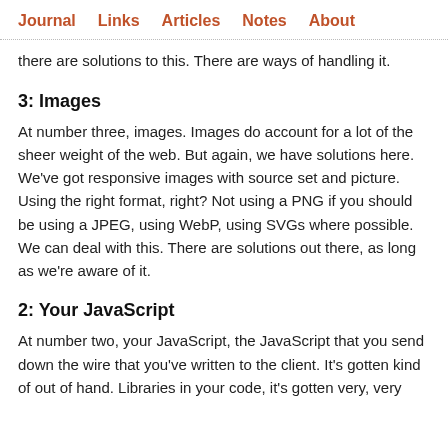Journal  Links  Articles  Notes  About
there are solutions to this. There are ways of handling it.
3: Images
At number three, images. Images do account for a lot of the sheer weight of the web. But again, we have solutions here. We've got responsive images with source set and picture. Using the right format, right? Not using a PNG if you should be using a JPEG, using WebP, using SVGs where possible. We can deal with this. There are solutions out there, as long as we're aware of it.
2: Your JavaScript
At number two, your JavaScript, the JavaScript that you send down the wire that you've written to the client. It's gotten kind of out of hand. Libraries in your code, it's gotten very, very